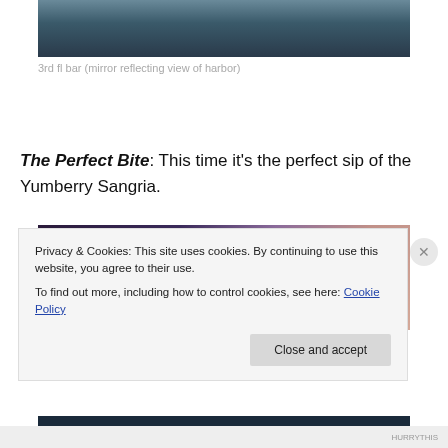[Figure (photo): Partial view of a person standing at a bar, with bottles visible on shelves in background]
3rd fl bar (mirror reflecting view of harbor)
The Perfect Bite: This time it's the perfect sip of the Yumberry Sangria.
[Figure (photo): Close-up of cocktail drinks, including a sangria with a raspberry garnish]
Privacy & Cookies: This site uses cookies. By continuing to use this website, you agree to their use.
To find out more, including how to control cookies, see here: Cookie Policy
Close and accept